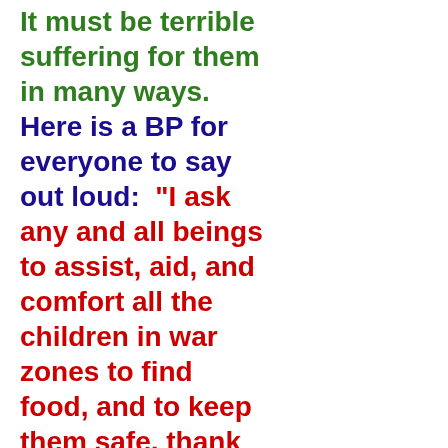It must be terrible suffering for them in many ways.
Here is a BP for everyone to say out loud:  “I ask any and all beings to assist, aid, and comfort all the children in war zones to find food, and to keep them safe, thank you!”
MBO FOR LOST